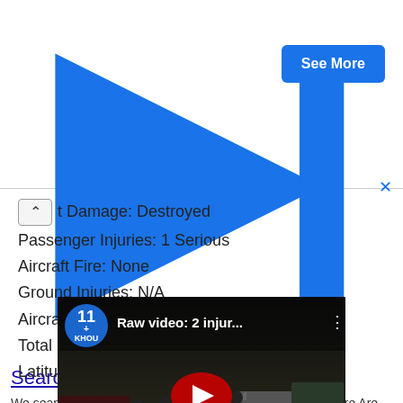[Figure (screenshot): Advertisement banner for 'Search CRM + Email Integration' with blue title text, body text about searching CRM with email integration, and a blue 'See More' button. Small ad icon top right.]
t Damage: Destroyed
Passenger Injuries: 1 Serious
Aircraft Fire: None
Ground Injuries: N/A
Aircraft Explosion: None
Total Injuries: 2 Serious
Latitude, Longitude:
[Figure (screenshot): YouTube video thumbnail showing a night scene with first responders and a small aircraft. KHOU 11 channel logo top left. Title: 'Raw video: 2 injur...' Red YouTube play button in center.]